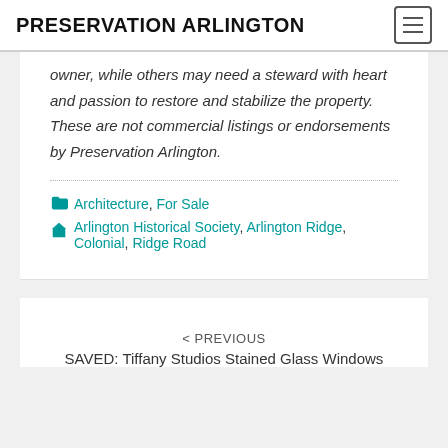PRESERVATION ARLINGTON
owner, while others may need a steward with heart and passion to restore and stabilize the property. These are not commercial listings or endorsements by Preservation Arlington.
Architecture, For Sale
Arlington Historical Society, Arlington Ridge, Colonial, Ridge Road
< PREVIOUS
SAVED: Tiffany Studios Stained Glass Windows